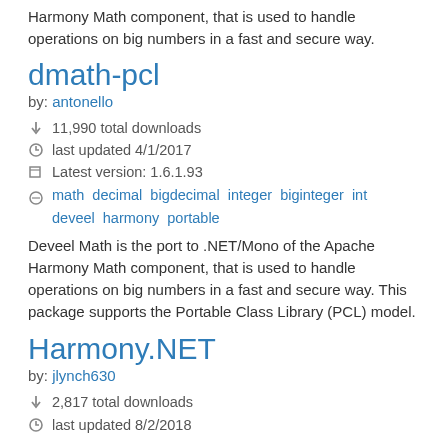Harmony Math component, that is used to handle operations on big numbers in a fast and secure way.
dmath-pcl
by: antonello
11,990 total downloads
last updated 4/1/2017
Latest version: 1.6.1.93
math decimal bigdecimal integer biginteger int deveel harmony portable
Deveel Math is the port to .NET/Mono of the Apache Harmony Math component, that is used to handle operations on big numbers in a fast and secure way. This package supports the Portable Class Library (PCL) model.
Harmony.NET
by: jlynch630
2,817 total downloads
last updated 8/2/2018